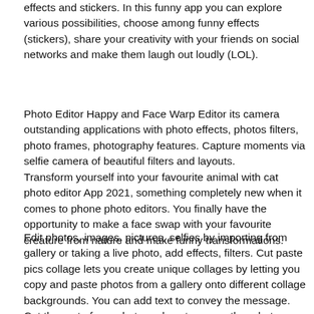effects and stickers. In this funny app you can explore various possibilities, choose among funny effects (stickers), share your creativity with your friends on social networks and make them laugh out loudly (LOL).
Photo Editor Happy and Face Warp Editor its camera outstanding applications with photo effects, photos filters, photo frames, photography features. Capture moments via selfie camera of beautiful filters and layouts.
Transform yourself into your favourite animal with cat photo editor App 2021, something completely new when it comes to phone photo editors. You finally have the opportunity to make a face swap with your favourite creature from nature and make funny transformations.
Edit photos, images, pictures, selfies by importing from gallery or taking a live photo, add effects, filters. Cut paste pics collage lets you create unique collages by letting you copy and paste photos from a gallery onto different collage backgrounds. You can add text to convey the message. Cut the part of any photo and paste on another photo.
You can swap the photo faces from one photo to another